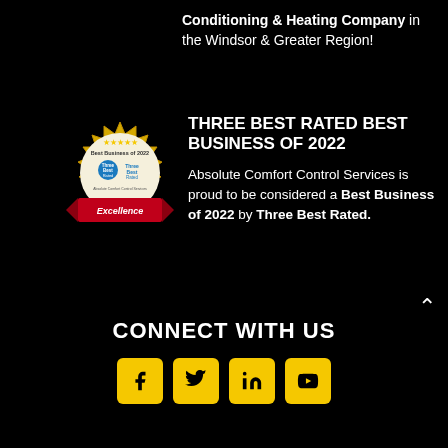Conditioning & Heating Company in the Windsor & Greater Region!
[Figure (logo): Three Best Rated Best Business of 2022 badge/seal with gold starburst border, ThreeBest Rated logo, and red Excellence ribbon banner]
THREE BEST RATED BEST BUSINESS OF 2022
Absolute Comfort Control Services is proud to be considered a Best Business of 2022 by Three Best Rated.
CONNECT WITH US
[Figure (infographic): Four yellow square social media icon buttons: Facebook (f), Twitter (bird), LinkedIn (in), YouTube (play button)]